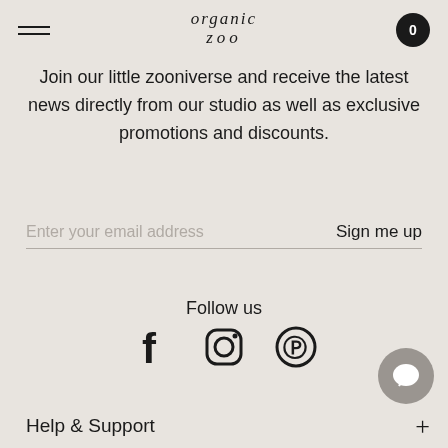organic zoo
Join our little zooniverse and receive the latest news directly from our studio as well as exclusive promotions and discounts.
Enter your email address   Sign me up
Follow us
[Figure (illustration): Social media icons: Facebook, Instagram, Pinterest]
Help & Support